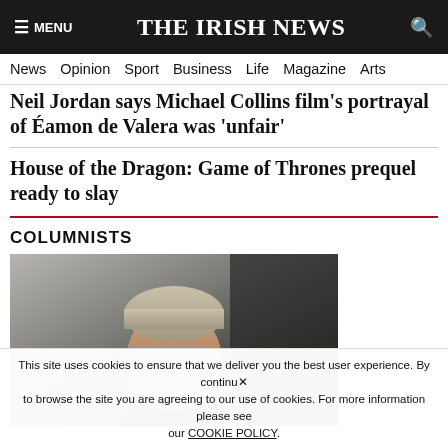☰ MENU   THE IRISH NEWS   🔍
News  Opinion  Sport  Business  Life  Magazine  Arts
Neil Jordan says Michael Collins film's portrayal of Éamon de Valera was 'unfair'
House of the Dragon: Game of Thrones prequel ready to slay
COLUMNISTS
[Figure (photo): Close-up photo of a middle-aged man with short grey-blonde hair, looking slightly to the side, in front of a dark background]
This site uses cookies to ensure that we deliver you the best user experience. By continuing to browse the site you are agreeing to our use of cookies. For more information please see our COOKIE POLICY.